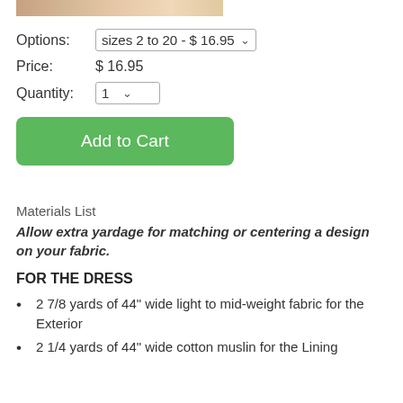[Figure (photo): Partial view of a top image strip showing fabric or product photos]
Options: sizes 2 to 20 - $ 16.95 [dropdown]
Price: $ 16.95
Quantity: 1 [dropdown]
Add to Cart
Materials List
Allow extra yardage for matching or centering a design on your fabric.
FOR THE DRESS
2 7/8 yards of 44" wide light to mid-weight fabric for the Exterior
2 1/4 yards of 44" wide cotton muslin for the Lining